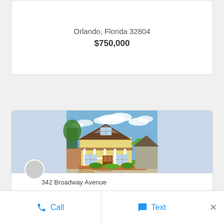Orlando, Florida 32804
$750,000
[Figure (photo): Exterior photo of a yellow craftsman-style bungalow home with white porch columns, brick retaining walls, manicured garden landscaping, palm trees, blue sky with clouds, and neighboring craftsman houses visible to the right.]
342 Broadway Avenue
Call
Text